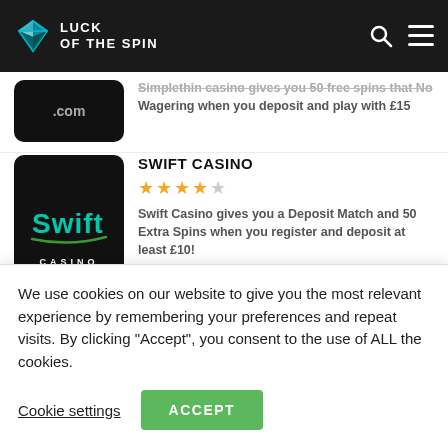[Figure (logo): Luck of the Spin logo in dark header with diamond icon and navigation icons]
Wagering when you deposit and play with £15
SWIFT CASINO
[Figure (logo): Swift Casino logo on black background]
Swift Casino gives you a Deposit Match and 50 Extra Spins when you register and deposit at least £10!
CASIPLAY CASINO
We use cookies on our website to give you the most relevant experience by remembering your preferences and repeat visits. By clicking "Accept", you consent to the use of ALL the cookies.